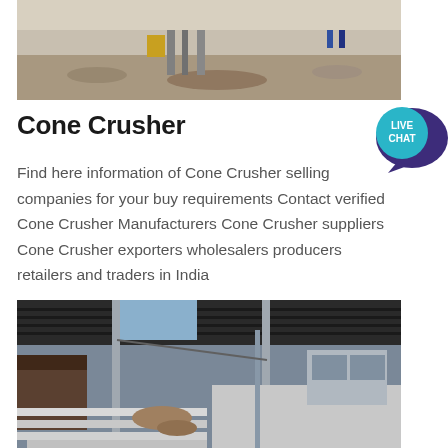[Figure (photo): Outdoor construction/quarry site with machinery and workers in background, dusty ground]
Cone Crusher
[Figure (illustration): Live Chat bubble icon in teal/purple color with speech bubble shape and text LIVE CHAT]
Find here information of Cone Crusher selling companies for your buy requirements Contact verified Cone Crusher Manufacturers Cone Crusher suppliers Cone Crusher exporters wholesalers producers retailers and traders in India
[Figure (photo): Interior of industrial facility with metal roof structure, steel columns, concrete walls and construction debris]